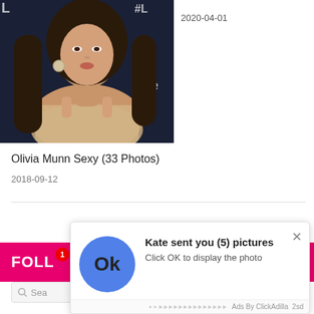[Figure (photo): Cropped photo of a woman (Olivia Munn) in a sparkly gold dress against a dark background with partial text visible]
2020-04-01
Olivia Munn Sexy (33 Photos)
2018-09-12
[Figure (screenshot): Popup notification: Ok circle button, text 'Kate sent you (5) pictures', 'Click OK to display the photo', close X button, footer 'Ads By ClickAdilla 2sd']